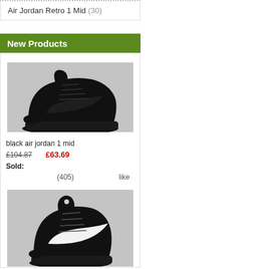Air Jordan Retro 1 Mid (30)
New Products
[Figure (photo): Black Air Jordan 1 Mid sneaker on grey background, side view]
black air jordan 1 mid
£104.87  £63.69
Sold:
(405)  like
[Figure (photo): Black Air Jordan 1 Mid sneaker with white Nike swoosh, partially visible, angled view]